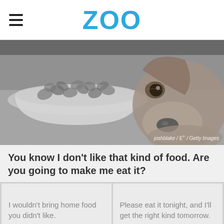ZOO
[Figure (photo): Black and white photo of a beagle dog resting its chin on the floor next to a white bowl filled with dog kibble. Photo credit: joshblake / E+ / Getty Images]
joshblake / E+ / Getty Images
You know I don't like that kind of food. Are you going to make me eat it?
I wouldn't bring home food you didn't like.
Please eat it tonight, and I'll get the right kind tomorrow.
Let me spruce it up